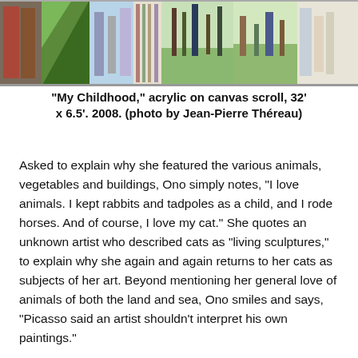[Figure (photo): A long horizontal artwork image showing colorful acrylic paintings on canvas scroll, featuring various painted panels with figures, plants, and structures in vibrant colors.]
“My Childhood,” acrylic on canvas scroll, 32’ x 6.5’. 2008. (photo by Jean-Pierre Théreau)
Asked to explain why she featured the various animals, vegetables and buildings, Ono simply notes, “I love animals. I kept rabbits and tadpoles as a child, and I rode horses. And of course, I love my cat.” She quotes an unknown artist who described cats as “living sculptures,” to explain why she again and again returns to her cats as subjects of her art. Beyond mentioning her general love of animals of both the land and sea, Ono smiles and says, “Picasso said an artist shouldn’t interpret his own paintings.”